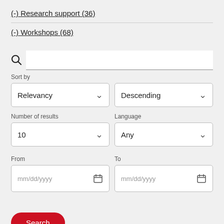(-) Research support (36)
(-) Workshops (68)
Sort by
Relevancy
Descending
Number of results
Language
10
Any
From
To
mm/dd/yyyy
mm/dd/yyyy
Search